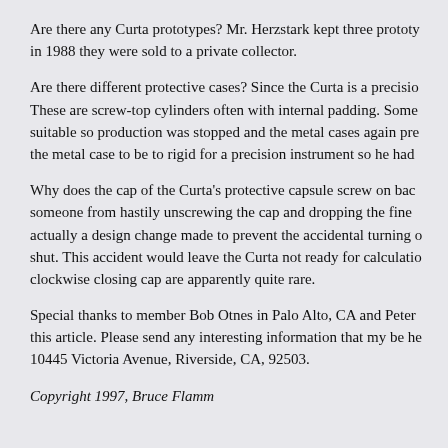Are there any Curta prototypes? Mr. Herzstark kept three prototypes; in 1988 they were sold to a private collector.
Are there different protective cases? Since the Curta is a precision instrument these are screw-top cylinders often with internal padding. Some were not suitable so production was stopped and the metal cases again prevailed. Herzstark found the metal case to be to rigid for a precision instrument so he had...
Why does the cap of the Curta's protective capsule screw on backwards? To prevent someone from hastily unscrewing the cap and dropping the fine instrument. This was actually a design change made to prevent the accidental turning of the cap to shut. This accident would leave the Curta not ready for calculation. Curta's with a clockwise closing cap are apparently quite rare.
Special thanks to member Bob Otnes in Palo Alto, CA and Peter ... this article. Please send any interesting information that my be helpful to: 10445 Victoria Avenue, Riverside, CA, 92503.
Copyright 1997, Bruce Flamm